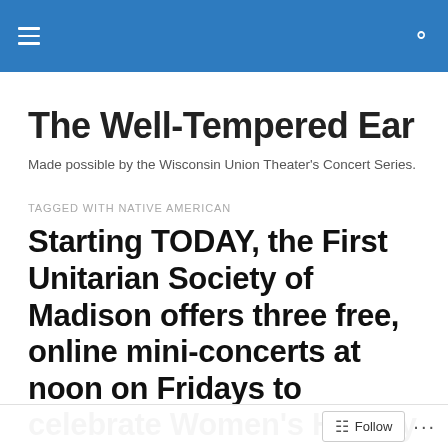The Well-Tempered Ear [navigation header with hamburger menu and search icon]
The Well-Tempered Ear
Made possible by the Wisconsin Union Theater's Concert Series.
TAGGED WITH NATIVE AMERICAN
Starting TODAY, the First Unitarian Society of Madison offers three free, online mini-concerts at noon on Fridays to celebrate Women's History Month